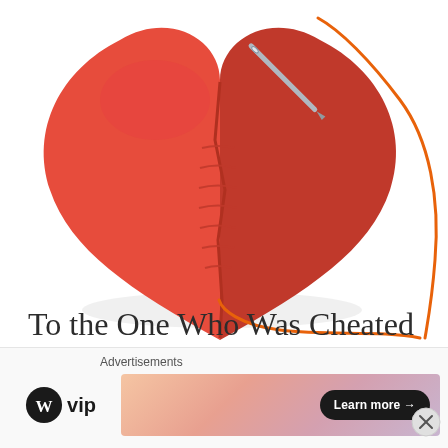[Figure (illustration): A large red heart being sewn together with a needle and orange thread. The heart has visible stitches along a crack down its center, and an orange thread trails from the needle to the right side of the image. The background is white.]
To the One Who Was Cheated On...
SEPTEMBER 18, 2018
Advertisements
[Figure (logo): WordPress VIP logo — WordPress circle 'W' icon followed by 'vip' text in bold]
[Figure (photo): Advertisement banner with pastel gradient background (peach to mauve) and a black 'Learn more →' button on the right]